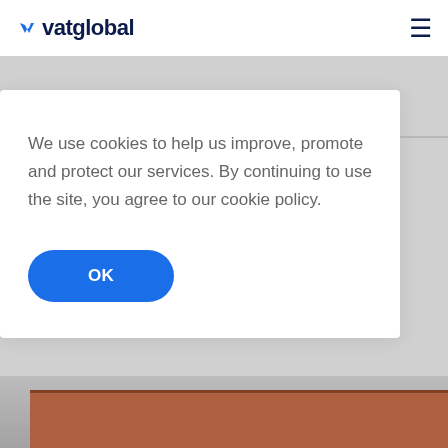[Figure (logo): vatglobal logo with blue checkmark icon and dark navy text]
We use cookies to help us improve, promote and protect our services. By continuing to use the site, you agree to our cookie policy.
OK
GET A QUOTE